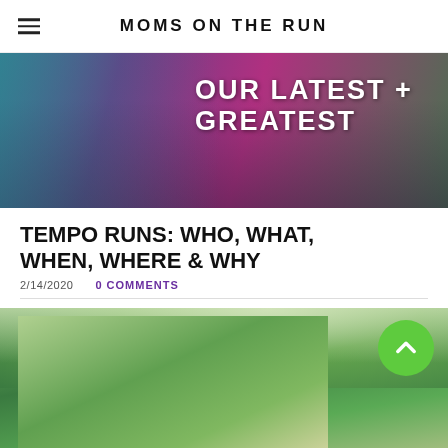MOMS ON THE RUN
[Figure (photo): Group of women wearing purple and teal running shirts walking away from camera, text overlay reads OUR LATEST + GREATEST]
TEMPO RUNS: WHO, WHAT, WHEN, WHERE & WHY
2/14/2020    0 COMMENTS
[Figure (photo): Women runners standing outdoors among green trees]